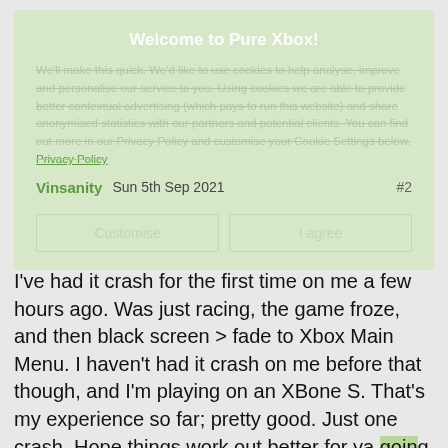Welcome to Pure Xbox!
We'll make this quick. We'd like to use cookies to help analyse, improve and personalise our service to you. Using cookies we are able to provide better contextual advertising (which pays to run this website) and share anonymised statistics with our partners and potential clients. You can find out more in our Privacy Policy and customise your Cookie Settings below. Privacy Policy
Vinsanity  Sun 5th Sep 2021  #2
Customise   I agree
I've had it crash for the first time on me a few hours ago. Was just racing, the game froze, and then black screen > fade to Xbox Main Menu. I haven't had it crash on me before that though, and I'm playing on an XBone S. That's my experience so far; pretty good. Just one crash. Hope things work out better for ya going forward though!